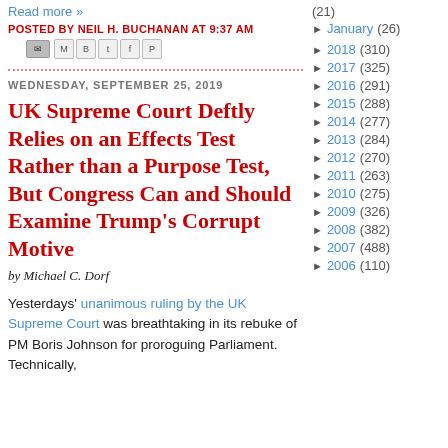Read more »
POSTED BY NEIL H. BUCHANAN AT 9:37 AM
[share icons]
WEDNESDAY, SEPTEMBER 25, 2019
UK Supreme Court Deftly Relies on an Effects Test Rather than a Purpose Test, But Congress Can and Should Examine Trump's Corrupt Motive
by Michael C. Dorf
Yesterdays' unanimous ruling by the UK Supreme Court was breathtaking in its rebuke of PM Boris Johnson for proroguing Parliament. Technically,
(21)
► January (26)
► 2018 (310)
► 2017 (325)
► 2016 (291)
► 2015 (288)
► 2014 (277)
► 2013 (284)
► 2012 (270)
► 2011 (263)
► 2010 (275)
► 2009 (326)
► 2008 (382)
► 2007 (488)
► 2006 (110)